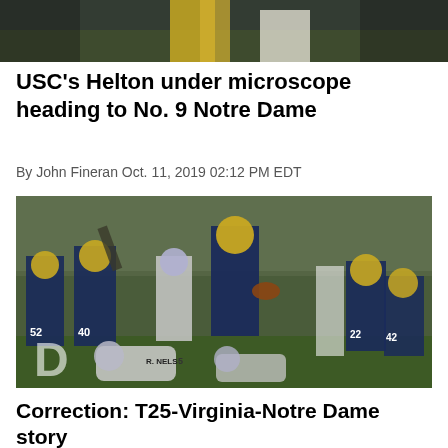[Figure (photo): Top partial photo of football players, showing legs and lower body in yellow and white uniforms against a dark background]
USC's Helton under microscope heading to No. 9 Notre Dame
By John Fineran Oct. 11, 2019 02:12 PM EDT
[Figure (photo): Notre Dame football players in navy and gold uniforms during a game. Player #21 carries the ball leaping over defenders. Players #40, #52, #22, #42 visible. Opposing Virginia players in white uniforms including R. Nelson #5 on ground.]
Correction: T25-Virginia-Notre Dame story